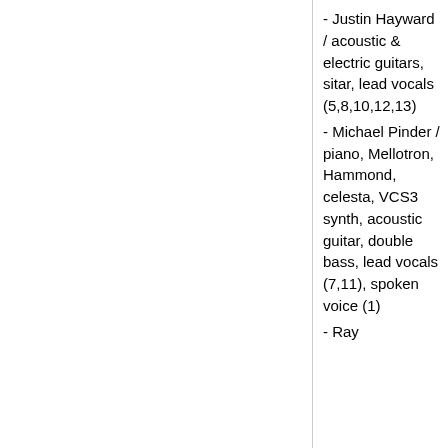- Justin Hayward / acoustic & electric guitars, sitar, lead vocals (5,8,10,12,13)
- Michael Pinder / piano, Mellotron, Hammond, celesta, VCS3 synth, acoustic guitar, double bass, lead vocals (7,11), spoken voice (1)
- Ray